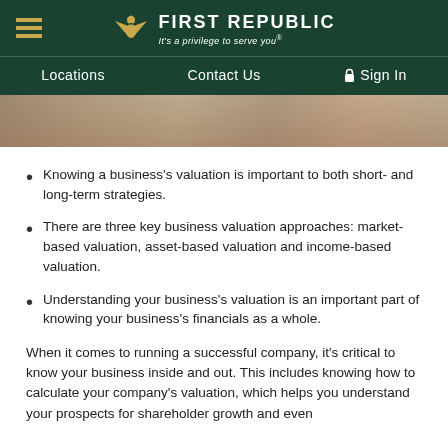First Republic — It's a privilege to serve you®
Locations   Contact Us   Sign In
[Figure (photo): Partial photo of a person working at a desk with documents and a laptop]
Knowing a business's valuation is important to both short- and long-term strategies.
There are three key business valuation approaches: market-based valuation, asset-based valuation and income-based valuation.
Understanding your business's valuation is an important part of knowing your business's financials as a whole.
When it comes to running a successful company, it's critical to know your business inside and out. This includes knowing how to calculate your company's valuation, which helps you understand your prospects for shareholder growth and even